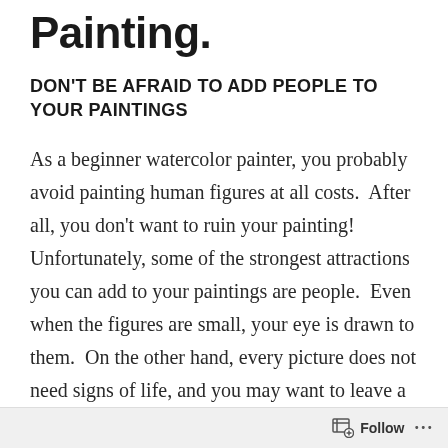Painting.
DON'T BE AFRAID TO ADD PEOPLE TO YOUR PAINTINGS
As a beginner watercolor painter, you probably avoid painting human figures at all costs.  After all, you don't want to ruin your painting!  Unfortunately, some of the strongest attractions you can add to your paintings are people.  Even when the figures are small, your eye is drawn to them.  On the other hand, every picture does not need signs of life, and you may want to leave a scene quiet, serene, and uncluttered.
Follow